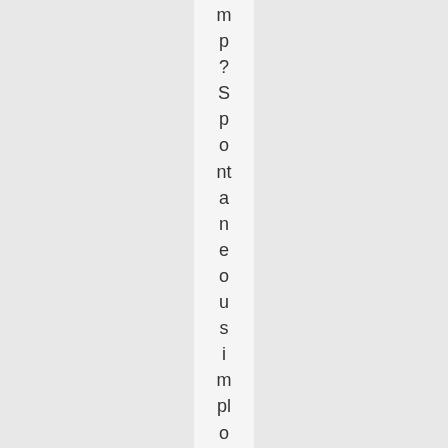m p ? Spontaneous implosion? I poked an